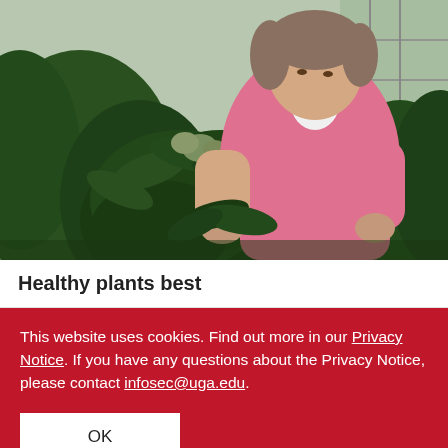[Figure (photo): A woman in a pink cardigan and white shirt tending to large dark green leafy plants (likely rhododendron) inside a greenhouse. She is examining or pruning the foliage with her hands.]
Healthy plants best
This website uses cookies. Find out more in our Privacy Notice. If you have any questions about the Privacy Notice, please contact infosec@uga.edu.